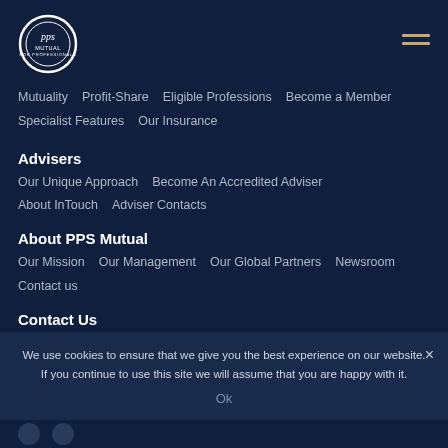[Figure (logo): PPS Mutual logo — circular emblem with 'pps' text inside, 'MUTUAL FOR PROFESSIONALS' text below]
Mutuality   Profit-Share   Eligible Professions   Become a Member   Specialist Features   Our Insurance
Advisers
Our Unique Approach   Become An Accredited Adviser   About InTouch   Adviser Contacts
About PPS Mutual
Our Mission   Our Management   Our Global Partners   Newsroom   Contact us
Contact Us
Member & General Enquiries   Advisers
1300 401 436   1300 401 607
Head Office
02 8292 2900
We use cookies to ensure that we give you the best experience on our website. If you continue to use this site we will assume that you are happy with it.